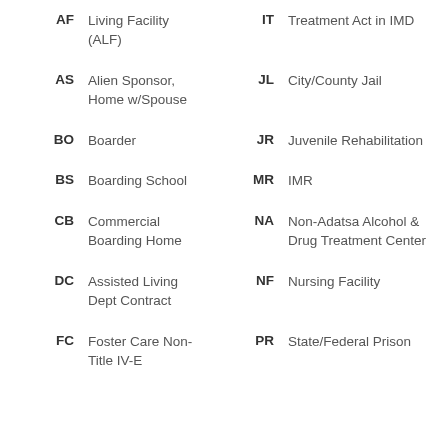AF - Living Facility (ALF) | IT - Treatment Act in IMD
AS - Alien Sponsor, Home w/Spouse | JL - City/County Jail
BO - Boarder | JR - Juvenile Rehabilitation
BS - Boarding School | MR - IMR
CB - Commercial Boarding Home | NA - Non-Adatsa Alcohol & Drug Treatment Center
DC - Assisted Living Dept Contract | NF - Nursing Facility
FC - Foster Care Non-Title IV-E | PR - State/Federal Prison